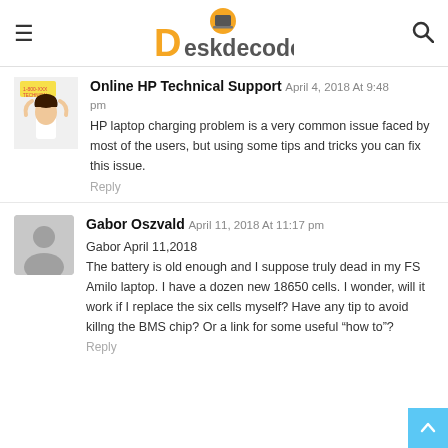DeskDecode (logo)
Online HP Technical Support   April 4, 2018 At 9:48 pm
HP laptop charging problem is a very common issue faced by most of the users, but using some tips and tricks you can fix this issue.
Reply
Gabor Oszvald   April 11, 2018 At 11:17 pm
Gabor April 11,2018
The battery is old enough and I suppose truly dead in my FS Amilo laptop. I have a dozen new 18650 cells. I wonder, will it work if I replace the six cells myself? Have any tip to avoid killng the BMS chip? Or a link for some useful “how to”?
Reply